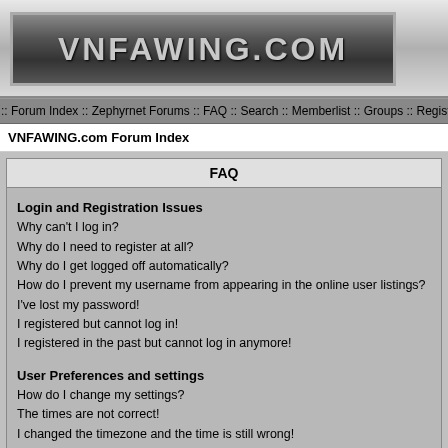[Figure (logo): VNFAWING.COM logo banner with metallic gradient background and bold silver text]
:: Forum Index :: Zephyrnet Forums :: FAQ :: Search :: Memberlist :: Groups :: Register :: Pr
VNFAWING.com Forum Index
FAQ
Login and Registration Issues
Why can't I log in?
Why do I need to register at all?
Why do I get logged off automatically?
How do I prevent my username from appearing in the online user listings?
I've lost my password!
I registered but cannot log in!
I registered in the past but cannot log in anymore!
User Preferences and settings
How do I change my settings?
The times are not correct!
I changed the timezone and the time is still wrong!
My language is not in the list!
How do I show an image below my username?
How do I change my rank?
When I click the email link for a user it asks me to log in.
Posting Issues
How do I post a topic in a forum?